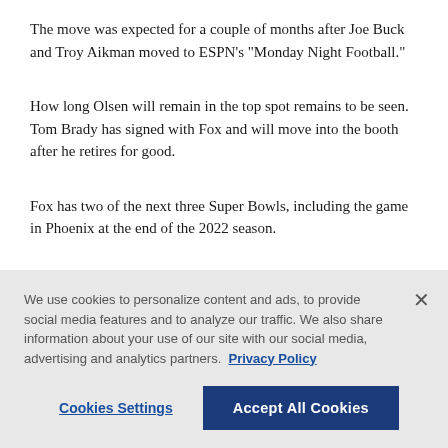The move was expected for a couple of months after Joe Buck and Troy Aikman moved to ESPN’s “Monday Night Football.”
How long Olsen will remain in the top spot remains to be seen. Tom Brady has signed with Fox and will move into the booth after he retires for good.
Fox has two of the next three Super Bowls, including the game in Phoenix at the end of the 2022 season.
Fox Sports president of production/operations and
We use cookies to personalize content and ads, to provide social media features and to analyze our traffic. We also share information about your use of our site with our social media, advertising and analytics partners. Privacy Policy
Cookies Settings | Accept All Cookies